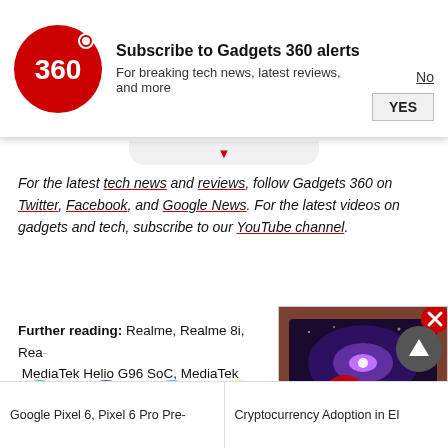[Figure (infographic): Gadgets 360 subscription notification banner with red 360 logo, title 'Subscribe to Gadgets 360 alerts', subtitle 'For breaking tech news, latest reviews, and more', and No/YES buttons]
For the latest tech news and reviews, follow Gadgets 360 on Twitter, Facebook, and Google News. For the latest videos on gadgets and tech, subscribe to our YouTube channel.
Further reading: Realme, Realme 8i, Rea..., MediaTek Helio G96 SoC, MediaTek
[Figure (infographic): Social sharing icons row: WhatsApp (green circle), Facebook (dark blue circle), Twitter (light blue circle), and two more icons partially visible]
[Figure (screenshot): Video thumbnail overlay showing a TV with galaxy/space wallpaper, with a red play button. Close button (red X) in top-right corner.]
Google Pixel 6, Pixel 6 Pro Pre-    |    Cryptocurrency Adoption in El